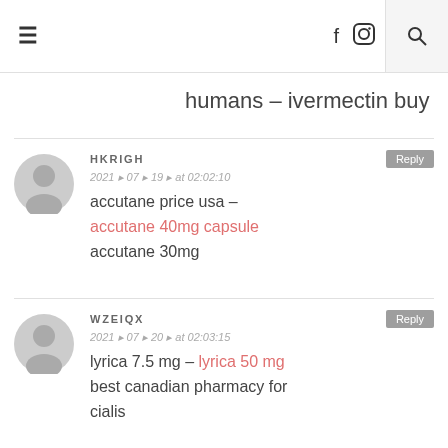≡  f  [instagram]  [search]
humans – ivermectin buy
HKRIGH
2021 ▸ 07 ▸ 19 ▸ at 02:02:10
accutane price usa – accutane 40mg capsule accutane 30mg
WZEIQX
2021 ▸ 07 ▸ 20 ▸ at 02:03:15
lyrica 7.5 mg – lyrica 50 mg best canadian pharmacy for cialis